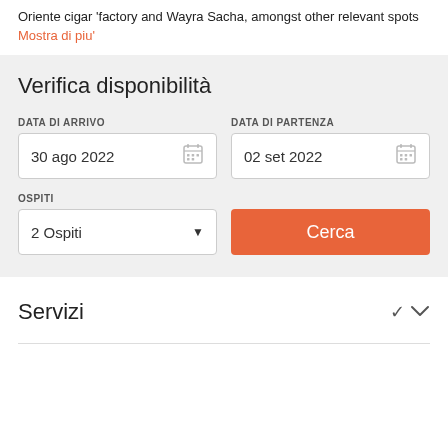Oriente cigar 'factory and Wayra Sacha, amongst other relevant spots
Mostra di piu'
Verifica disponibilità
DATA DI ARRIVO: 30 ago 2022 | DATA DI PARTENZA: 02 set 2022
OSPITI: 2 Ospiti
Cerca
Servizi